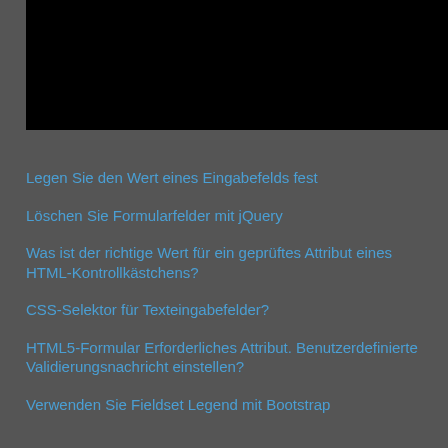[Figure (screenshot): Black screenshot/image area at top of page]
Legen Sie den Wert eines Eingabefelds fest
Löschen Sie Formularfelder mit jQuery
Was ist der richtige Wert für ein geprüftes Attribut eines HTML-Kontrollkästchens?
CSS-Selektor für Texteingabefelder?
HTML5-Formular Erforderliches Attribut. Benutzerdefinierte Validierungsnachricht einstellen?
Verwenden Sie Fieldset Legend mit Bootstrap